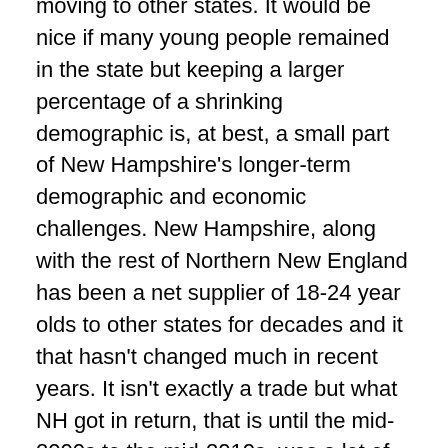moving to other states. It would be nice if many young people remained in the state but keeping a larger percentage of a shrinking demographic is, at best, a small part of New Hampshire's longer-term demographic and economic challenges. New Hampshire, along with the rest of Northern New England has been a net supplier of 18-24 year olds to other states for decades and it that hasn't changed much in recent years. It isn't exactly a trade but what NH got in return, that is until the mid-2000s to the mid-2010s, was a lot of 30-44 year olds with high levels of educational attainment. The movement of individuals and families into New Hampshire during their early and mid-career years was what set New Hampshire apart from the rest of New England and the Northeast and it is what provided the fuel for the extraordinary rise in prosperity in the state from the 1980s to the early 2000s.